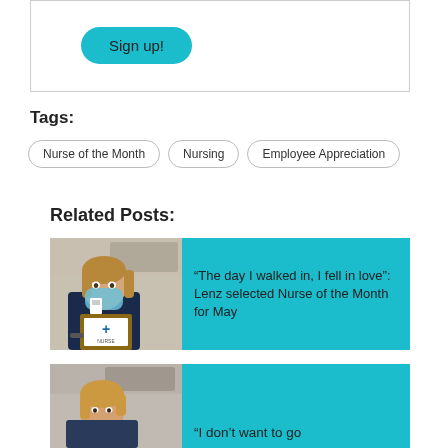Sign up!
Tags:
Nurse of the Month
Nursing
Employee Appreciation
Related Posts:
[Figure (photo): Nurse wearing a mask holding a framed Nurse of the Month award]
“The day I walked in, I fell in love”: Lenz selected Nurse of the Month for May
[Figure (photo): Nurse in hospital setting, partial view]
“I don’t want to go